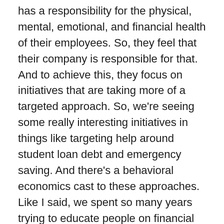has a responsibility for the physical, mental, emotional, and financial health of their employees. So, they feel that their company is responsible for that. And to achieve this, they focus on initiatives that are taking more of a targeted approach. So, we're seeing some really interesting initiatives in things like targeting help around student loan debt and emergency saving. And there's a behavioral economics cast to these approaches. Like I said, we spent so many years trying to educate people on financial literacy, and we haven't gotten very far. So, what we're seeing is the financial-help industry stepping back and saying, “How do we leverage some of the lessons from behavioral economics and make it easier for people to do things that are going to help them from a financial perspective?” And so, a great example is emergency savings. You can educate people on emergency savings